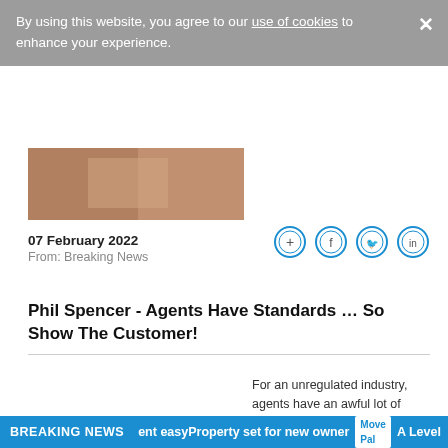By using this website, you agree to our use of cookies to enhance your experience.
[Figure (photo): Partially visible article thumbnail image at top]
07 February 2022
From: Breaking News
[Figure (other): Social share icons: add, facebook, twitter, linkedin]
Phil Spencer - Agents Have Standards … So Show The Customer!
[Figure (photo): Photo of Phil Spencer with 'move' overlay badge]
For an unregulated industry, agents have an awful lot of regulations to deal with. For example, there's the mandatory membership of a…
02 February 2022
From: Breaking News
[Figure (other): Social share icons: add, facebook, twitter, linkedin]
Email and SMS
LEAD NURTURE
BREAKING NEWS  ent easyProperty set for new owner  MovePal  A Level